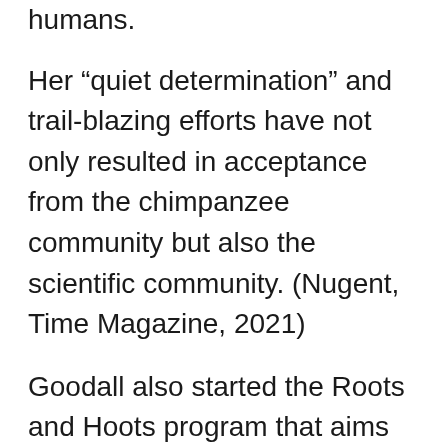humans.
Her “quiet determination” and trail-blazing efforts have not only resulted in acceptance from the chimpanzee community but also the scientific community. (Nugent, Time Magazine, 2021)
Goodall also started the Roots and Hoots program that aims to empower young people so they can create change in their communities.
Quotes